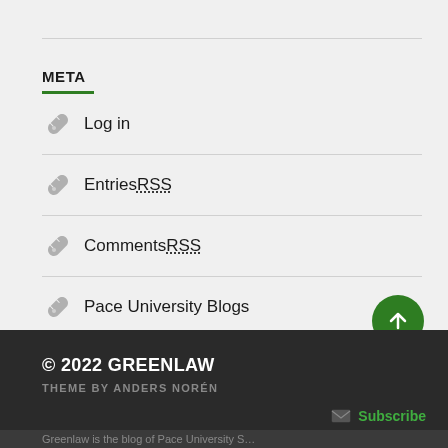META
Log in
Entries RSS
Comments RSS
Pace University Blogs
© 2022 GREENLAW
THEME BY ANDERS NORÉN
Subscribe